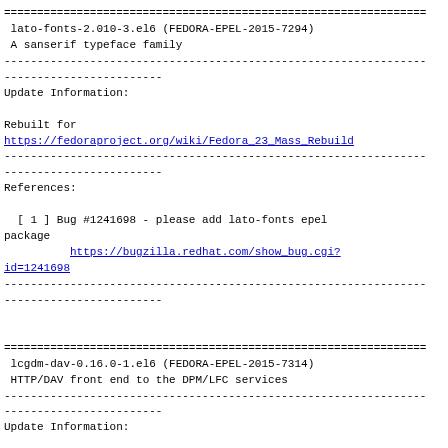================================================================
 lato-fonts-2.010-3.el6 (FEDORA-EPEL-2015-7294)
 A sanserif typeface family
----------------------------------------------------------------
------------------------
Update Information:

Rebuilt for
https://fedoraproject.org/wiki/Fedora_23_Mass_Rebuild
----------------------------------------------------------------
------------------------
References:

  [ 1 ] Bug #1241698 - please add lato-fonts epel package
          https://bugzilla.redhat.com/show_bug.cgi?id=1241698
----------------------------------------------------------------
------------------------
================================================================
 lcgdm-dav-0.16.0-1.el6 (FEDORA-EPEL-2015-7314)
 HTTP/DAV front end to the DPM/LFC services
----------------------------------------------------------------
------------------------
Update Information:

New upstream release